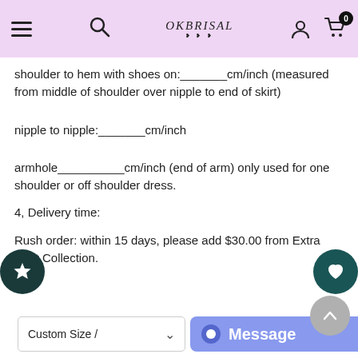OkBrisal — navigation header with hamburger menu, search, logo, user icon, and cart (0 items)
shoulder to hem with shoes on:_______cm/inch (measured from middle of shoulder over nipple to end of skirt)
nipple to nipple:_______cm/inch
armhole__________cm/inch (end of arm) only used for one shoulder or off shoulder dress.
4, Delivery time:
Rush order: within 15 days, please add $30.00 from Extra Cost Collection.